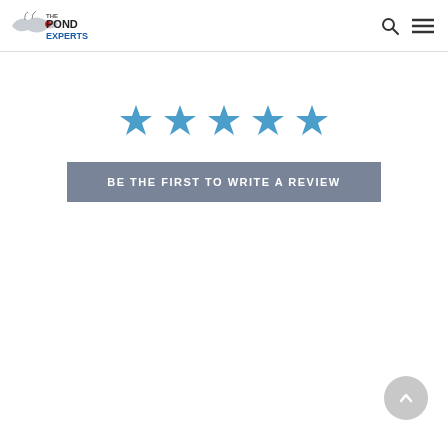The Pond Experts - navigation header with logo, search icon, and menu icon
[Figure (illustration): Five blue star icons representing a 5-star rating (unrated/empty state)]
BE THE FIRST TO WRITE A REVIEW
[Figure (illustration): Circular back-to-top button with upward chevron arrow]